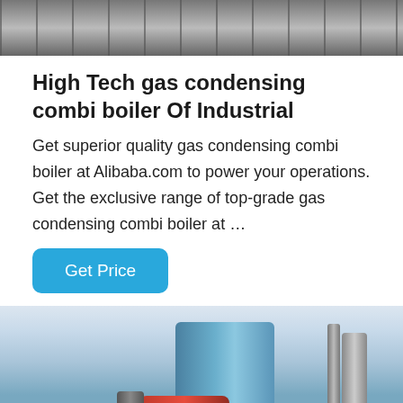[Figure (photo): Top banner image showing industrial boilers/equipment in a row]
High Tech gas condensing combi boiler Of Industrial
Get superior quality gas condensing combi boiler at Alibaba.com to power your operations. Get the exclusive range of top-grade gas condensing combi boiler at …
[Figure (other): Blue button labeled 'Get Price']
[Figure (photo): Industrial gas boiler in a factory setting — large blue boiler unit with red burner assembly and pipes]